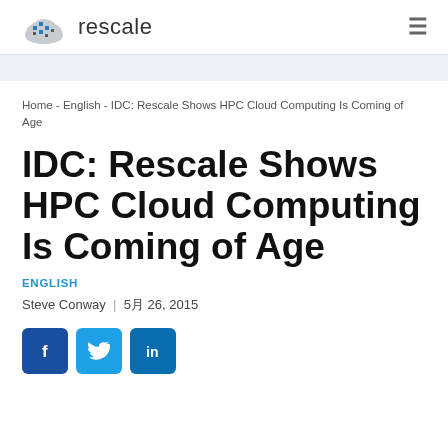[Figure (logo): Rescale cloud logo with pixel/grid pattern and text 'rescale']
Home - English - IDC: Rescale Shows HPC Cloud Computing Is Coming of Age
IDC: Rescale Shows HPC Cloud Computing Is Coming of Age
ENGLISH
Steve Conway  |  5월 26, 2015
[Figure (illustration): Social media share buttons: Facebook (f), Twitter (bird), LinkedIn (in)]